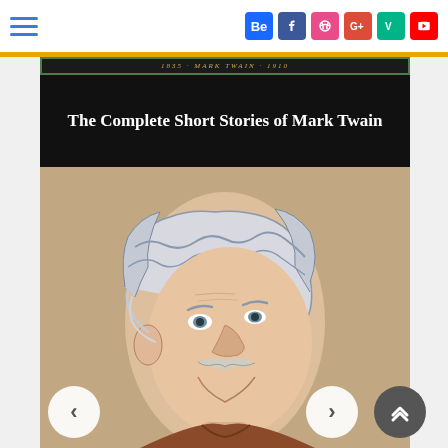Navigation bar with hamburger menu and social icons: Behance, Facebook, Dribbble, Google+, Vine, YouTube
[Figure (illustration): Book cover of 'The Complete Short Stories of Mark Twain' showing a stylized illustration/caricature portrait of Mark Twain with white hair and mustache on a tan/beige background. Black title band at top with the book title in white text.]
The Complete Short Stories of Mark Twain